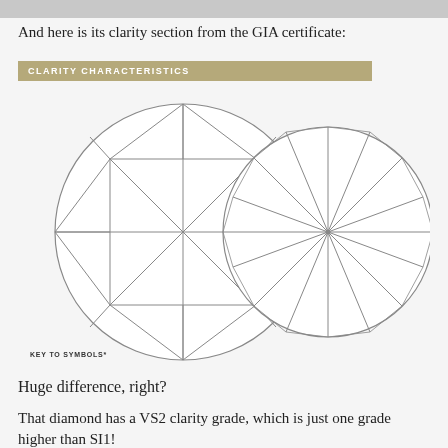[Figure (other): Top gray image bar (partial image of diamond)]
And here is its clarity section from the GIA certificate:
[Figure (illustration): GIA certificate clarity characteristics section showing two diamond diagrams (top and side views) with facet lines, labeled 'CLARITY CHARACTERISTICS', with KEY TO SYMBOLS showing Feather symbol]
Huge difference, right?
That diamond has a VS2 clarity grade, which is just one grade higher than SI1!